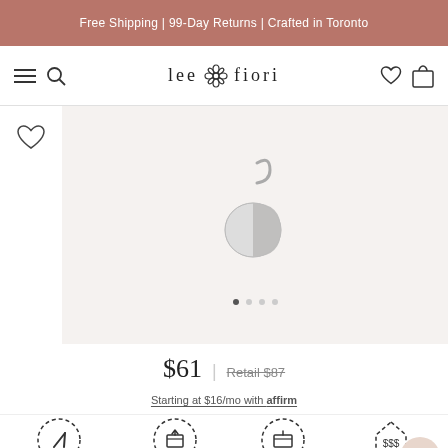Free Shipping | 99-Day Returns | Crafted in Toronto
[Figure (screenshot): Lee Fiori navigation bar with hamburger menu, search icon, logo, heart icon, and shopping bag icon]
[Figure (photo): Silver circular charm pendant with a hook, shown against light grey background]
$61  |  Retail $87
Starting at $16/mo with affirm
[Figure (infographic): Bottom icons showing PRODUCTION, WHOLESALE, RETAIL, YOUR PRICE labels with circular icons]